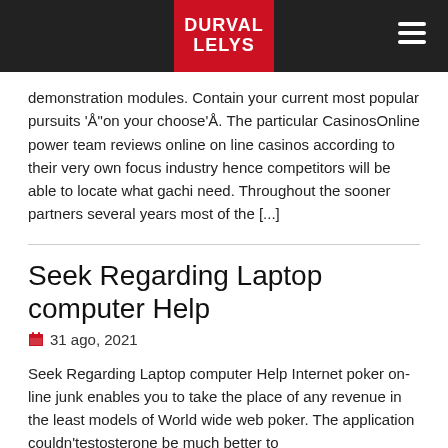DURVAL LELYS
demonstration modules. Contain your current most popular pursuits ‘Å“on your choose’ÅŒ. The particular CasinosOnline power team reviews online on line casinos according to their very own focus industry hence competitors will be able to locate what gachi need. Throughout the sooner partners several years most of the [...]
Seek Regarding Laptop computer Help
31 ago, 2021
Seek Regarding Laptop computer Help Internet poker on-line junk enables you to take the place of any revenue in the least models of World wide web poker. The application couldn’testosterone be much better to